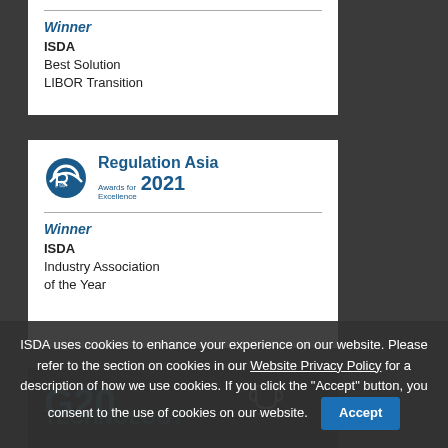[Figure (other): Regulation Asia Awards for Excellence 2021 logo with partial top card showing Winner, ISDA, Best Solution, LIBOR Transition]
Winner
ISDA
Best Solution
LIBOR Transition
[Figure (logo): Regulation Asia Awards for Excellence 2021 logo]
Winner
ISDA
Industry Association of the Year
[Figure (other): G20 partial card with trophy icon and teal text at bottom]
ISDA uses cookies to enhance your experience on our website. Please refer to the section on cookies in our Website Privacy Policy for a description of how we use cookies. If you click the "Accept" button, you consent to the use of cookies on our website.